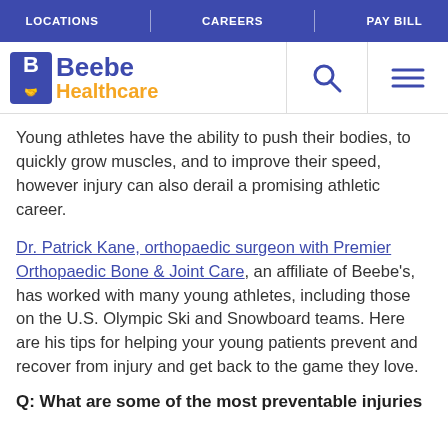LOCATIONS | CAREERS | PAY BILL
[Figure (logo): Beebe Healthcare logo with icon]
Young athletes have the ability to push their bodies, to quickly grow muscles, and to improve their speed, however injury can also derail a promising athletic career.
Dr. Patrick Kane, orthopaedic surgeon with Premier Orthopaedic Bone & Joint Care, an affiliate of Beebe's, has worked with many young athletes, including those on the U.S. Olympic Ski and Snowboard teams. Here are his tips for helping your young patients prevent and recover from injury and get back to the game they love.
Q: What are some of the most preventable injuries